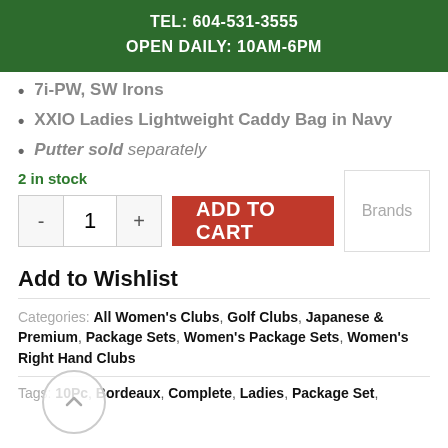TEL: 604-531-3555
OPEN DAILY: 10AM-6PM
7i-PW, SW Irons
XXIO Ladies Lightweight Caddy Bag in Navy
Putter sold separately
2 in stock
- 1 + ADD TO CART
Brands
Add to Wishlist
Categories: All Women's Clubs, Golf Clubs, Japanese & Premium, Package Sets, Women's Package Sets, Women's Right Hand Clubs
Tags: 10Pc, Bordeaux, Complete, Ladies, Package Set,